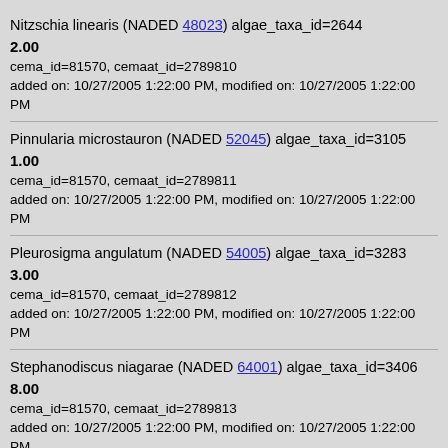Nitzschia linearis (NADED 48023) algae_taxa_id=2644
2.00
cema_id=81570, cemaat_id=2789810
added on: 10/27/2005 1:22:00 PM, modified on: 10/27/2005 1:22:00 PM
Pinnularia microstauron (NADED 52045) algae_taxa_id=3105
1.00
cema_id=81570, cemaat_id=2789811
added on: 10/27/2005 1:22:00 PM, modified on: 10/27/2005 1:22:00 PM
Pleurosigma angulatum (NADED 54005) algae_taxa_id=3283
3.00
cema_id=81570, cemaat_id=2789812
added on: 10/27/2005 1:22:00 PM, modified on: 10/27/2005 1:22:00 PM
Stephanodiscus niagarae (NADED 64001) algae_taxa_id=3406
8.00
cema_id=81570, cemaat_id=2789813
added on: 10/27/2005 1:22:00 PM, modified on: 10/27/2005 1:22:00 PM
Stephanodiscus hantzschii (NADED 64010) algae_taxa_id=3415
15.00